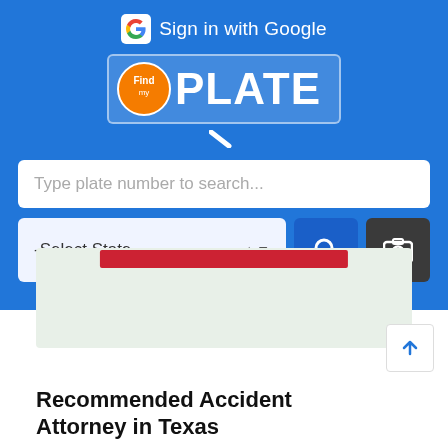[Figure (screenshot): FindMyPlate web application screenshot showing blue header with Google sign-in button, FindPlate logo, a search bar for plate number, state selector dropdown, search button, and camera button. Below the header is a partial map card with a red bar and a recommended attorney section.]
Sign in with Google
PLATE
Type plate number to search...
-Select State -
Recommended Accident Attorney in Texas